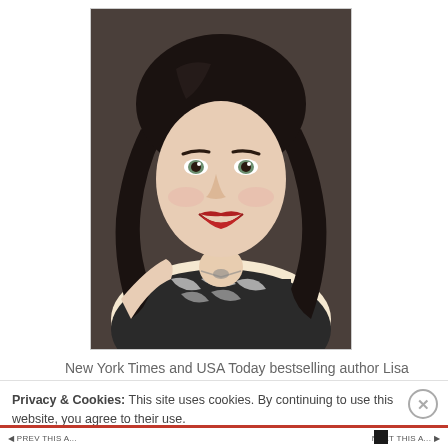[Figure (photo): Professional headshot of author Lisa Renee Jones, a woman with long dark hair, smiling, wearing a black and white patterned top, photographed against a dark background.]
New York Times and USA Today bestselling author Lisa Renee Jones is the author of the highly acclaimed
Privacy & Cookies: This site uses cookies. By continuing to use this website, you agree to their use.
To find out more, including how to control cookies, see here: Cookie Policy
Close and accept